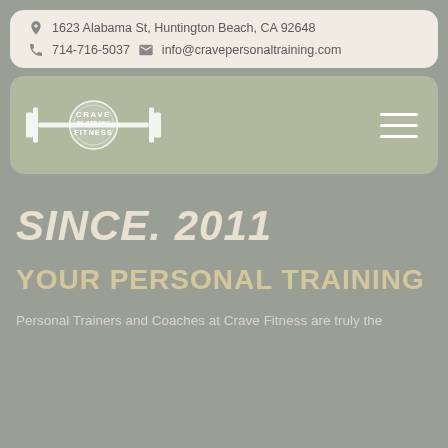1623 Alabama St, Huntington Beach, CA 92648 | 714-716-5037 | info@cravepersonaltraining.com
[Figure (logo): Crave Fitness logo — a barbell with a circular badge reading CRAVE BE STRONG FITNESS, white on sage green background]
SINCE. 2011
YOUR PERSONAL TRAINING
Personal Trainers and Coaches at Crave Fitness are truly the